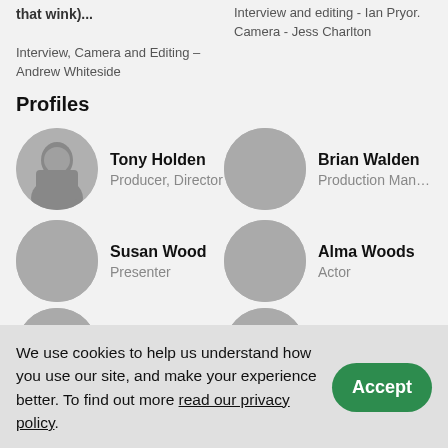that wink)...  Interview, Camera and Editing – Andrew Whiteside
Interview and editing - Ian Pryor. Camera - Jess Charlton
Profiles
Tony Holden
Producer, Director
Brian Walden
Production Manager
Susan Wood
Presenter
Alma Woods
Actor
We use cookies to help us understand how you use our site, and make your experience better. To find out more read our privacy policy.